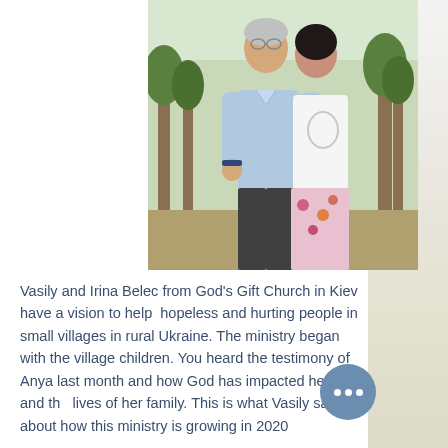[Figure (photo): A couple standing together outdoors near trees. A man in a light blue checkered shirt with his arm around a woman in a white t-shirt with a floral print skirt.]
Vasily and Irina Belec from God's Gift Church in Kiev have a vision to help hopeless and hurting people in small villages in rural Ukraine. The ministry began with the village children. You heard the testimony of Anya last month and how God has impacted her life and the lives of her family. This is what Vasily says about how this ministry is growing in 2020